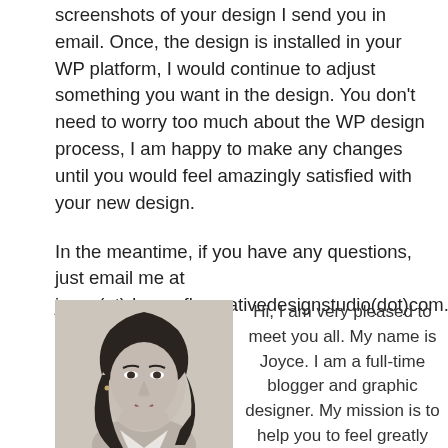screenshots of your design I send you in email. Once, the design is installed in your WP platform, I would continue to adjust something you want in the design. You don't need to worry too much about the WP design process, I am happy to make any changes until you would feel amazingly satisfied with your new design.
In the meantime, if you have any questions, just email me at joyce(at)dragonflycreativedesignstudio(dot)com.
[Figure (photo): Black and white portrait photo of a young Asian woman with long dark hair, wearing a white top, looking slightly to the side.]
Hi, I am very pleased to meet you all. My name is Joyce. I am a full-time blogger and graphic designer. My mission is to help you to feel greatly satisfied with the design services here.